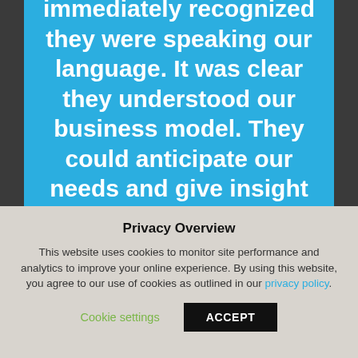immediately recognized they were speaking our language. It was clear they understood our business model. They could anticipate our needs and give insight on how to solve our business problems. They presented insightful options and gave honest feedback about the pros and cons of each. The honesty and integrity
Privacy Overview
This website uses cookies to monitor site performance and analytics to improve your online experience. By using this website, you agree to our use of cookies as outlined in our privacy policy.
Cookie settings    ACCEPT